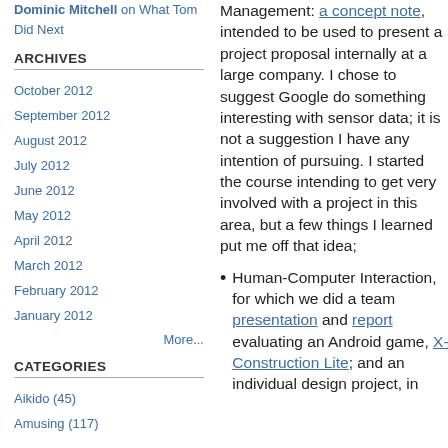Dominic Mitchell on What Tom Did Next
ARCHIVES
October 2012
September 2012
August 2012
July 2012
June 2012
May 2012
April 2012
March 2012
February 2012
January 2012
More...
CATEGORIES
Aikido (45)
Amusing (117)
Management: a concept note, intended to be used to present a project proposal internally at a large company. I chose to suggest Google do something interesting with sensor data; it is not a suggestion I have any intention of pursuing. I started the course intending to get very involved with a project in this area, but a few things I learned put me off that idea;
Human-Computer Interaction, for which we did a team presentation and report evaluating an Android game, X-Construction Lite; and an individual design project, in